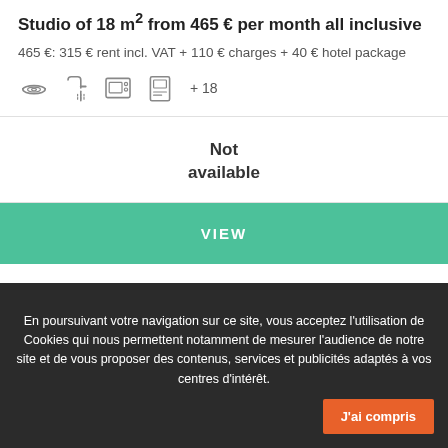Studio of 18 m² from 465 € per month all inclusive
465 €: 315 € rent incl. VAT + 110 € charges + 40 € hotel package
[Figure (illustration): Row of amenity icons: hotplate/stove, shower, oven/microwave, keycard access, plus +18 more]
Not available
VIEW
En poursuivant votre navigation sur ce site, vous acceptez l'utilisation de Cookies qui nous permettent notamment de mesurer l'audience de notre site et de vous proposer des contenus, services et publicités adaptés à vos centres d'intérêt.
J'ai compris